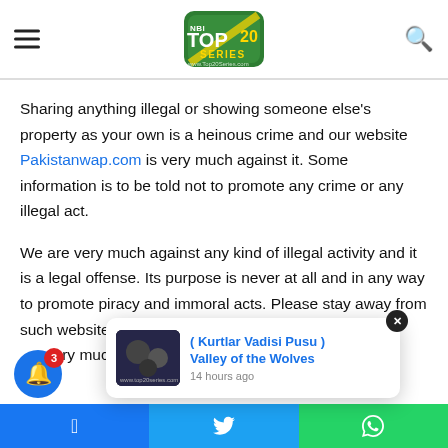TOP 20 SERIES logo header with hamburger menu and search icon
Sharing anything illegal or showing someone else's property as your own is a heinous crime and our website Pakistanwap.com is very much against it. Some information is to be told not to promote any crime or any illegal act.
We are very much against any kind of illegal activity and it is a legal offense. Its purpose is never at all and in any way to promote piracy and immoral acts. Please stay away from such websites and cho... very muc...
[Figure (screenshot): Popup notification card showing ( Kurtlar Vadisi Pusu ) Valley of the Wolves, 14 hours ago, with thumbnail image]
Facebook | Twitter | WhatsApp share buttons